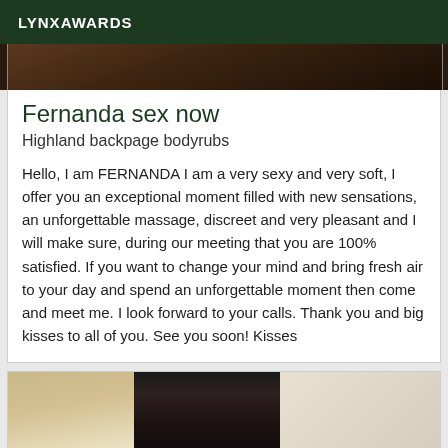LYNXAWARDS
[Figure (photo): Top portion of a photo showing a person, cropped — only upper body visible, dark background]
Fernanda sex now
Highland backpage bodyrubs
Hello, I am FERNANDA I am a very sexy and very soft, I offer you an exceptional moment filled with new sensations, an unforgettable massage, discreet and very pleasant and I will make sure, during our meeting that you are 100% satisfied. If you want to change your mind and bring fresh air to your day and spend an unforgettable moment then come and meet me. I look forward to your calls. Thank you and big kisses to all of you. See you soon! Kisses
[Figure (photo): Photo of a dark-haired woman with wavy hair, wearing dark clothing, gold/cream decorative background on the left, white surface on the right]